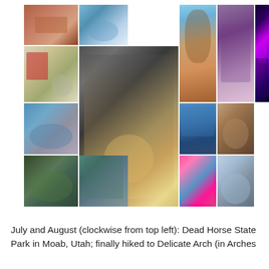[Figure (photo): Photo collage of 14 travel and outdoor activity photos arranged in a grid. Shows Dead Horse State Park in Moab Utah, Delicate Arch in Arches National Park, water activities, a no parking sign, family photos, hiking, paddleboarding, and indoor venue with purple/pink lighting.]
July and August (clockwise from top left): Dead Horse State Park in Moab, Utah; finally hiked to Delicate Arch (in Arches